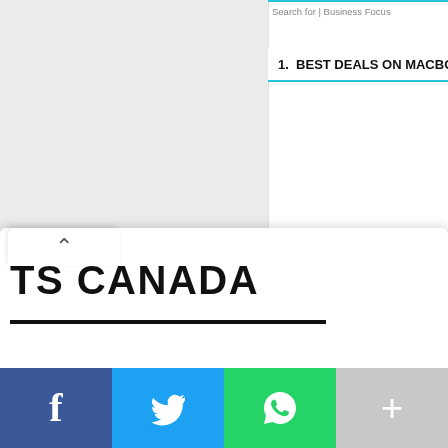Search for | Business Focus
1.  BEST DEALS ON MACBOOK
TS CANADA
[Figure (screenshot): Social sharing bar at bottom with Facebook (blue), Twitter (light blue), WhatsApp (green), and More (grey) buttons with icons]